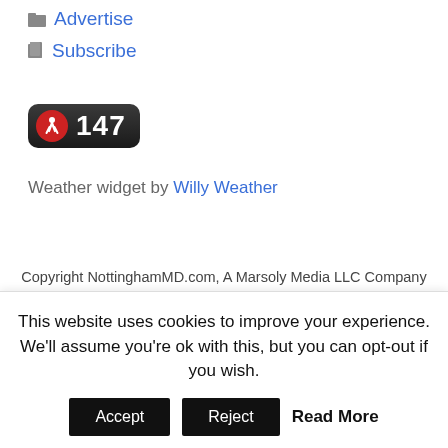Advertise
Subscribe
[Figure (screenshot): A dark rounded badge/widget showing a walking person icon on a red circle and the number 147 in white text on dark background]
Weather widget by Willy Weather
Copyright NottinghamMD.com, A Marsoly Media LLC Company
Proudly powered by WordPress | Theme: NewsPR4 by
This website uses cookies to improve your experience. We'll assume you're ok with this, but you can opt-out if you wish.
Accept
Reject
Read More